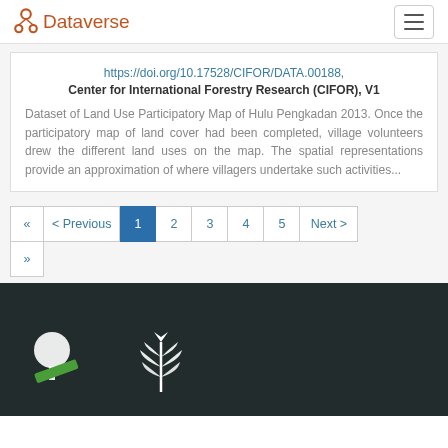Dataverse
https://doi.org/10.17528/CIFOR/DATA.00188, Center for International Forestry Research (CIFOR), V1
Dataset of Land Use Participatory Map of Hulu Pengkadan 2013. Once the participatory map of land cover had been completed, village volunteers drew the different land uses on the map. The spatial representations provide an approximation of where villagers undertake such activities...
« < Previous 1 2 3 4 5 Next > »
[Figure (logo): Footer with dark background and two white logos — a tree/forest logo and a wheat/plant emblem]